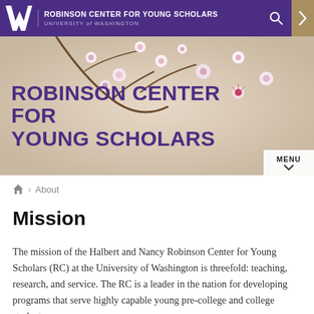ROBINSON CENTER FOR YOUNG SCHOLARS | UNIVERSITY of WASHINGTON
[Figure (screenshot): Hero banner with cherry blossom flowers in background and purple bold text reading ROBINSON CENTER FOR YOUNG SCHOLARS]
ROBINSON CENTER FOR YOUNG SCHOLARS
🏠 › About
Mission
The mission of the Halbert and Nancy Robinson Center for Young Scholars (RC) at the University of Washington is threefold: teaching, research, and service. The RC is a leader in the nation for developing programs that serve highly capable young pre-college and college students.